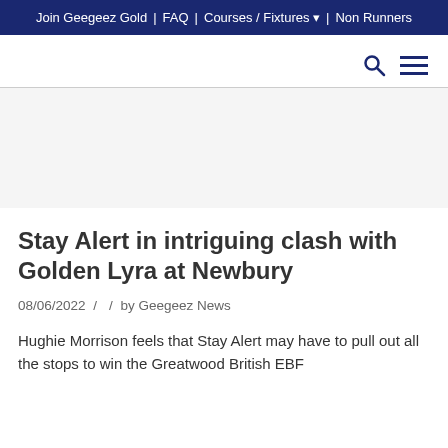Join Geegeez Gold | FAQ | Courses / Fixtures ▼ | Non Runners
Stay Alert in intriguing clash with Golden Lyra at Newbury
08/06/2022 /  / by Geegeez News
Hughie Morrison feels that Stay Alert may have to pull out all the stops to win the Greatwood British EBF